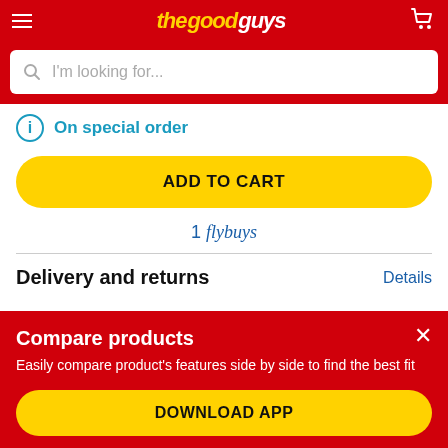The Good Guys - navigation bar with logo and cart
[Figure (screenshot): Search bar with placeholder text 'I'm looking for...' on red background]
On special order
ADD TO CART
1 flybuys
Delivery and returns
Details
Compare products
Easily compare product's features side by side to find the best fit
DOWNLOAD APP